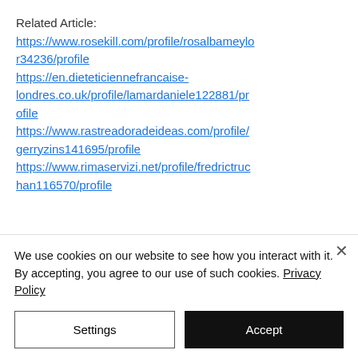Related Article: https://www.rosekill.com/profile/rosalbameylo r34236/profile https://en.dieteticiennefrancaise-londres.co.uk/profile/lamardaniele122881/pr ofile https://www.rastreadoradeideas.com/profile/gerryzins141695/profile https://www.rimaservizi.net/profile/fredrictruchan116570/profile
[Figure (logo): Dark navy blue background with a stylized letter S logo in blue and white colors]
We use cookies on our website to see how you interact with it. By accepting, you agree to our use of such cookies. Privacy Policy